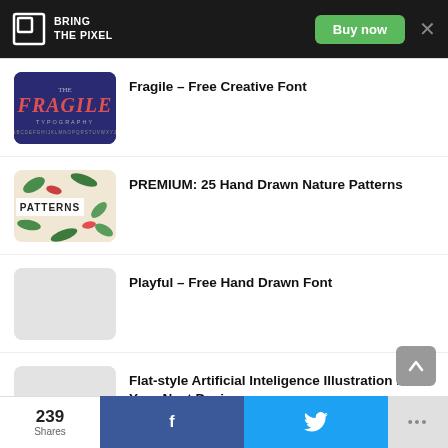BRING THE PIXEL | Buy now
Fragile – Free Creative Font
PREMIUM: 25 Hand Drawn Nature Patterns
Playful – Free Hand Drawn Font
Flat-style Artificial Inteligence Illustration For Your Next Design
239 Shares | f | Twitter bird | ...